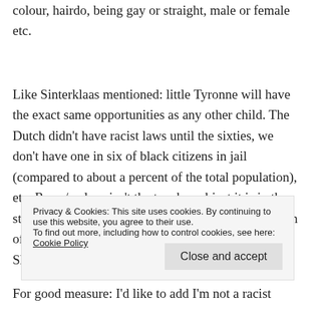colour, hairdo, being gay or straight, male or female etc.
Like Sinterklaas mentioned: little Tyronne will have the exact same opportunities as any other child. The Dutch didn't have racist laws until the sixties, we don't have one in six of black citizens in jail (compared to about a percent of the total population), etc. Race / colour isn't the touchy subject it is in the states. Besides, people like Dave Chappelle make fun of stereotypical white men every chance he gets. Should every white
Privacy & Cookies: This site uses cookies. By continuing to use this website, you agree to their use.
To find out more, including how to control cookies, see here: Cookie Policy
For good measure: I'd like to add I'm not a racist